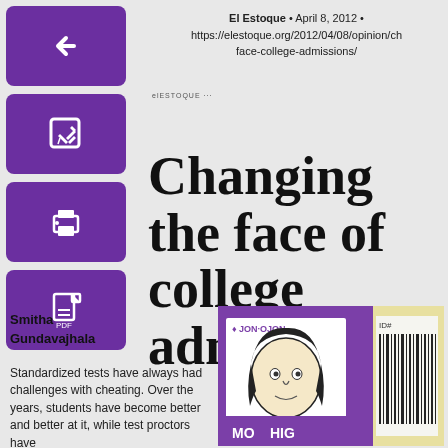El Estoque • April 8, 2012 • https://elestoque.org/2012/04/08/opinion/ch face-college-admissions/
Changing the face of college admissions
Smitha Gundavajhala
Standardized tests have always had challenges with cheating. Over the years, students have become better and better at it, while test proctors have
[Figure (illustration): A hand-drawn illustration of a student ID card with a cartoon face of a girl with dark hair, a barcode on the right side labeled ID#, and purple/yellow background colors. Text at the bottom reads MO HIG.]